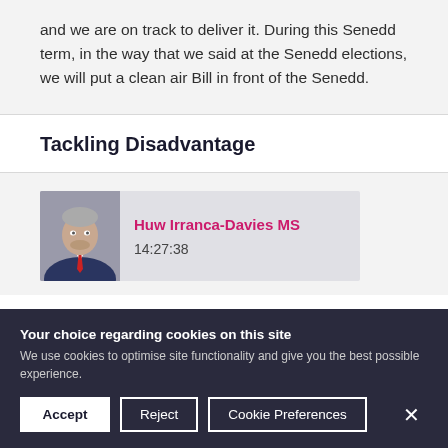and we are on track to deliver it. During this Senedd term, in the way that we said at the Senedd elections, we will put a clean air Bill in front of the Senedd.
Tackling Disadvantage
[Figure (photo): Headshot of Huw Irranca-Davies MS in a suit with a red tie]
Huw Irranca-Davies MS
14:27:38
Your choice regarding cookies on this site
We use cookies to optimise site functionality and give you the best possible experience.